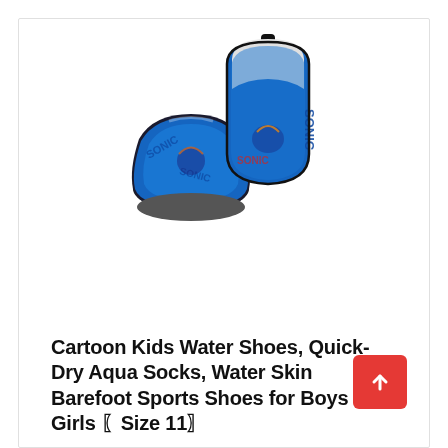[Figure (photo): A pair of blue Sonic the Hedgehog themed water shoes/aqua socks for kids. One shoe is shown flat (sole visible, grey/black bottom) and the other is upright showing the white interior lining and blue exterior with 'SONIC' text and character graphic. Both shoes are bright blue with cartoon Sonic graphics.]
Cartoon Kids Water Shoes, Quick-Dry Aqua Socks, Water Skin Barefoot Sports Shoes for Boys and Girls 〖Size 11〗